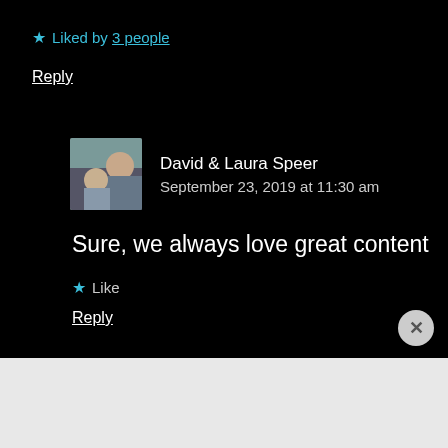★ Liked by 3 people
Reply
David & Laura Speer
September 23, 2019 at 11:30 am
Sure, we always love great content
★ Like
Reply
[Figure (screenshot): Day One app advertisement banner with text 'Your Journal for life' and DayOne logo on cyan background]